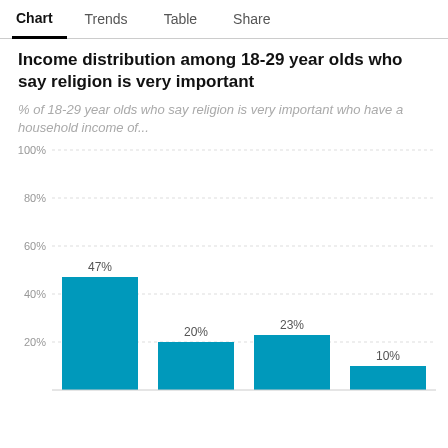Chart | Trends | Table | Share
Income distribution among 18-29 year olds who say religion is very important
% of 18-29 year olds who say religion is very important who have a household income of...
[Figure (bar-chart): Income distribution among 18-29 year olds who say religion is very important]